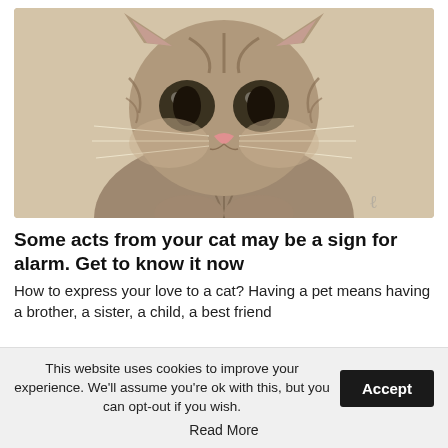[Figure (photo): Close-up photo of a small tabby kitten with large dark eyes, pink nose, long white whiskers, and striped fur, looking directly at the camera against a beige background.]
Some acts from your cat may be a sign for alarm. Get to know it now
How to express your love to a cat? Having a pet means having a brother, a sister, a child, a best friend
This website uses cookies to improve your experience. We'll assume you're ok with this, but you can opt-out if you wish.
Read More